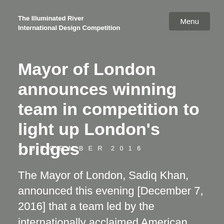The Illuminated River
International Design Competition
Menu
Mayor of London announces winning team in competition to light up London's bridges
7 DECEMBER 2016
The Mayor of London, Sadiq Khan, announced this evening [December 7, 2016] that a team led by the internationally acclaimed American light artist Leo Villareal and renowned British architects and urban planners, Lifschutz Davidson Sandilands, has won the Illuminated River